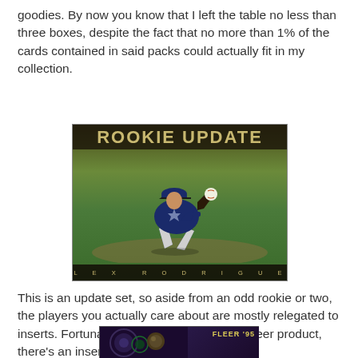goodies. By now you know that I left the table no less than three boxes, despite the fact that no more than 1% of the cards contained in said packs could actually fit in my collection.
[Figure (photo): A baseball card labeled 'ROOKIE UPDATE' showing Alex Rodriguez in a Seattle Mariners uniform fielding a ball, with his name spelled out at the bottom of the card.]
This is an update set, so aside from an odd rookie or two, the players you actually care about are mostly relegated to inserts. Fortunately, this being a mid-'90s Fleer product, there's an insert in every single pack.
[Figure (photo): Partial view of another Fleer trading card at the bottom of the page, showing a dark purple/blue background with the Fleer logo visible.]